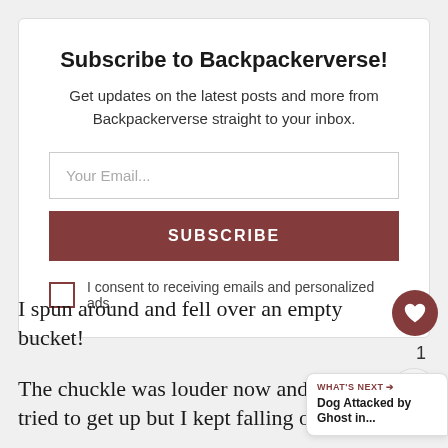Subscribe to Backpackerverse!
Get updates on the latest posts and more from Backpackerverse straight to your inbox.
[Figure (screenshot): Email input field with placeholder text 'Your Email...']
[Figure (screenshot): SUBSCRIBE button in dark red/maroon color]
I consent to receiving emails and personalized ads.
I spun around and fell over an empty bucket!
The chuckle was louder now and I tried to get up but I kept falling over.